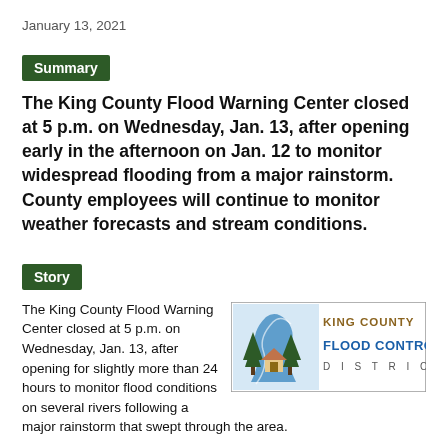January 13, 2021
Summary
The King County Flood Warning Center closed at 5 p.m. on Wednesday, Jan. 13, after opening early in the afternoon on Jan. 12 to monitor widespread flooding from a major rainstorm. County employees will continue to monitor weather forecasts and stream conditions.
Story
The King County Flood Warning Center closed at 5 p.m. on Wednesday, Jan. 13, after opening for slightly more than 24 hours to monitor flood conditions on several rivers following a major rainstorm that swept through the area.
[Figure (logo): King County Flood Control District logo with trees, river, and text]